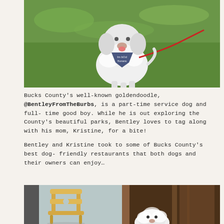[Figure (photo): A white goldendoodle dog sitting on green grass, wearing a dark bandana and a red leash, looking at the camera]
Bucks County's well-known goldendoodle, @BentleyFromTheBurbs, is a part-time service dog and full-time good boy. While he is out exploring the County's beautiful parks, Bentley loves to tag along with his mom, Kristine, for a bite!
Bentley and Kristine took to some of Bucks County's best dog-friendly restaurants that both dogs and their owners can enjoy…
[Figure (photo): Two side-by-side photos: left shows a wooden chair in an indoor setting; right shows a white fluffy dog (Bentley) at a restaurant]